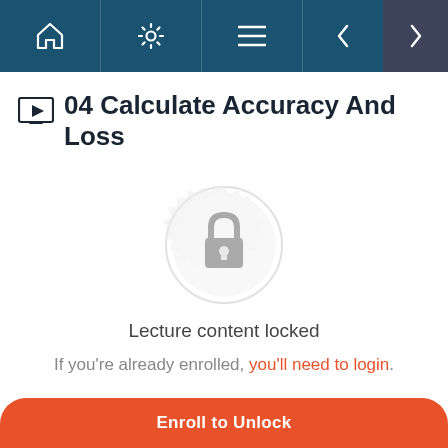Navigation bar with home, settings, menu, back arrow, forward arrow icons
04 Calculate Accuracy And Loss
[Figure (illustration): Lock icon with decorative circular badge background, indicating locked content]
Lecture content locked
If you're already enrolled, you'll need to login.
Enroll to Unlock